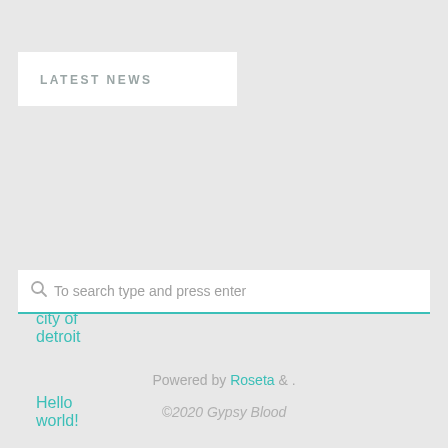LATEST NEWS
city of detroit
Hello world!
To search type and press enter
Powered by Roseta & .
©2020 Gypsy Blood